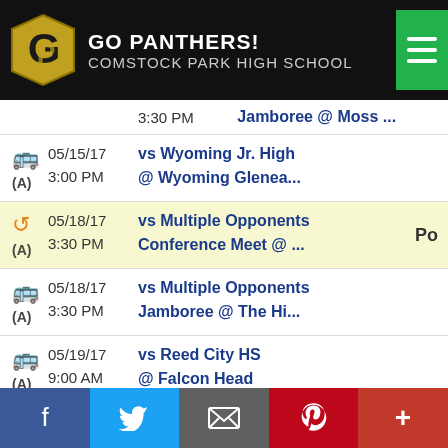GO PANTHERS! COMSTOCK PARK HIGH SCHOOL
3:30 PM — Jamboree @ Moss ...
05/15/17 3:00 PM — vs Wyoming Jr. High @ Wyoming Glenea...
05/18/17 3:30 PM — vs Multiple Opponents — Conference Meet @ ...
05/18/17 3:30 PM — vs Multiple Opponents — Jamboree @ The Hi...
05/19/17 9:00 AM — vs Reed City HS @ Falcon Head
05/22/17 3:30 PM — vs Multiple Opponents — Jamboree @ Spring ...
Facebook | Twitter | Email | Pinterest | More